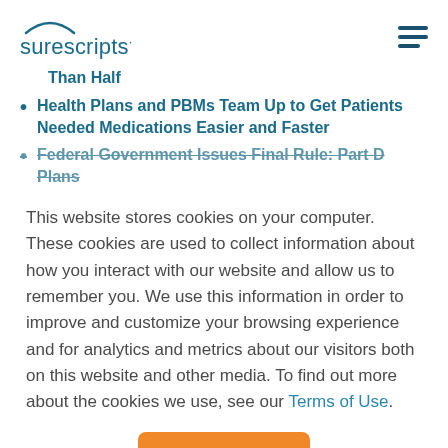surescripts
Than Half
Health Plans and PBMs Team Up to Get Patients Needed Medications Easier and Faster
Federal Government Issues Final Rule: Part D Plans
This website stores cookies on your computer. These cookies are used to collect information about how you interact with our website and allow us to remember you. We use this information in order to improve and customize your browsing experience and for analytics and metrics about our visitors both on this website and other media. To find out more about the cookies we use, see our Terms of Use.
Accept